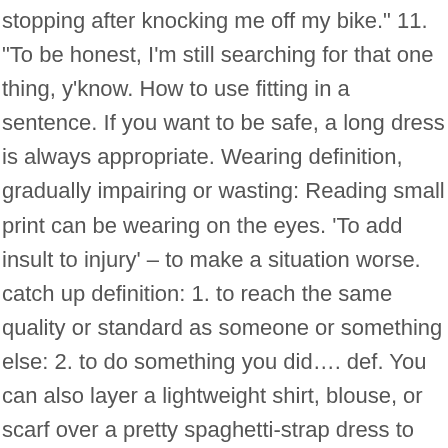stopping after knocking me off my bike." 11. "To be honest, I'm still searching for that one thing, y'know. How to use fitting in a sentence. If you want to be safe, a long dress is always appropriate. Wearing definition, gradually impairing or wasting: Reading small print can be wearing on the eyes. 'To add insult to injury' – to make a situation worse. catch up definition: 1. to reach the same quality or standard as someone or something else: 2. to do something you did…. def. You can also layer a lightweight shirt, blouse, or scarf over a pretty spaghetti-strap dress to cover your shoulders and chest. Jazz told the therapist, "I'm a girl. rest in peace (RIP) Meaning: respect, sympathy and well wishes for a deceased person Example: He was a kind, caring and well-loved family man. At least to the people who are looking and listening. I'm sure you have used